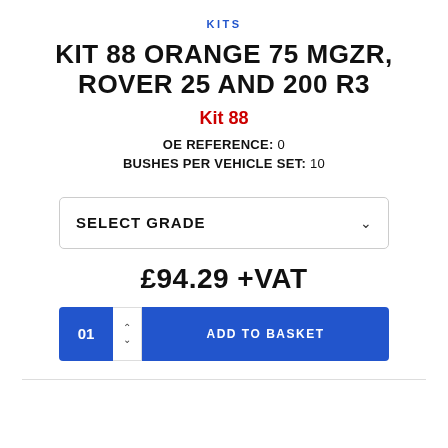KITS
KIT 88 ORANGE 75 MGZR, ROVER 25 AND 200 R3
Kit 88
OE REFERENCE: 0
BUSHES PER VEHICLE SET: 10
SELECT GRADE
£94.29 +VAT
01
ADD TO BASKET